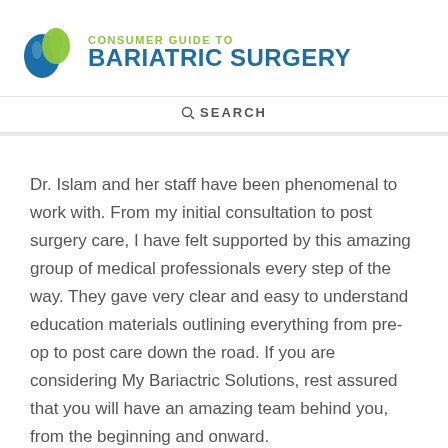[Figure (logo): Consumer Guide to Bariatric Surgery logo with blue and green teardrop/leaf icon]
SEARCH
Dr. Islam and her staff have been phenomenal to work with. From my initial consultation to post surgery care, I have felt supported by this amazing group of medical professionals every step of the way. They gave very clear and easy to understand education materials outlining everything from pre-op to post care down the road. If you are considering My Bariactric Solutions, rest assured that you will have an amazing team behind you, from the beginning and onward.